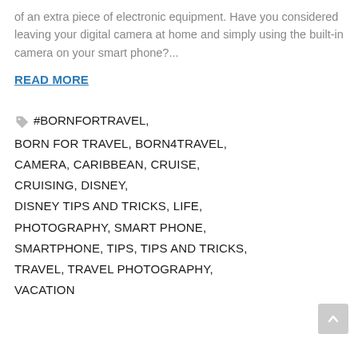of an extra piece of electronic equipment. Have you considered leaving your digital camera at home and simply using the built-in camera on your smart phone?...
READ MORE
#BORNFORTRAVEL, BORN FOR TRAVEL, BORN4TRAVEL, CAMERA, CARIBBEAN, CRUISE, CRUISING, DISNEY, DISNEY TIPS AND TRICKS, LIFE, PHOTOGRAPHY, SMART PHONE, SMARTPHONE, TIPS, TIPS AND TRICKS, TRAVEL, TRAVEL PHOTOGRAPHY, VACATION